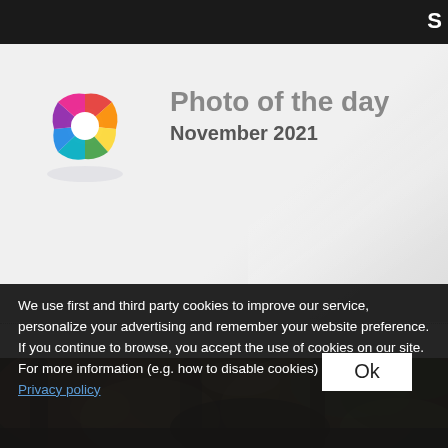S
Photo of the day
November 2021
[Figure (logo): Colorful circular logo with rainbow-colored segments arranged in a ring, resembling a pinwheel or lens aperture]
[Figure (photo): Blurred nature photograph showing tree bark and foliage with warm brown and green tones]
We use first and third party cookies to improve our service, personalize your advertising and remember your website preference. If you continue to browse, you accept the use of cookies on our site. For more information (e.g. how to disable cookies) please see our Privacy policy